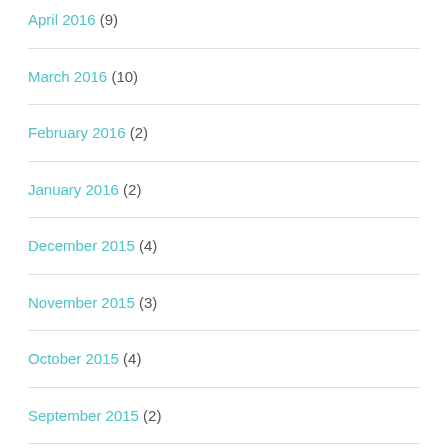April 2016 (9)
March 2016 (10)
February 2016 (2)
January 2016 (2)
December 2015 (4)
November 2015 (3)
October 2015 (4)
September 2015 (2)
August 2015 (4)